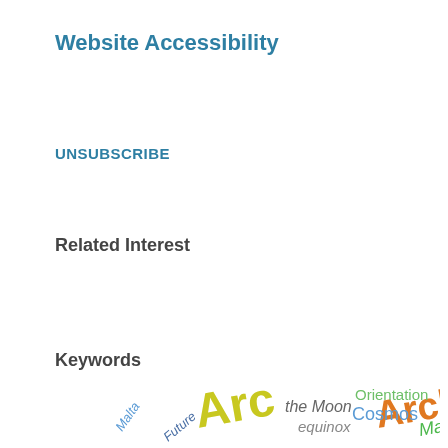Website Accessibility
UNSUBSCRIBE
Related Interest
Keywords
[Figure (infographic): Word cloud showing keywords: Malta, Future, Arc (large), the Moon, equinox, Arch (partial, orange), Orientation, Cosmos, Maya — displayed in various colors, sizes, and rotations]